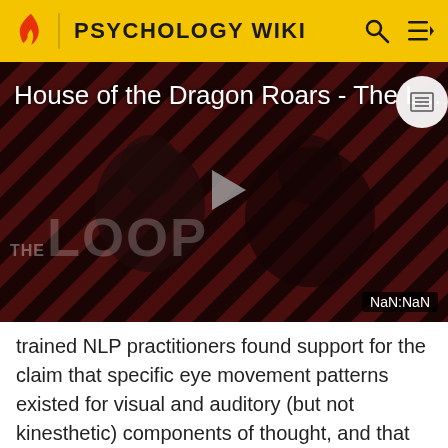PSYCHOLOGY WIKI
[Figure (screenshot): Video thumbnail for 'House of the Dragon Roars - The Loop' with diagonal red and dark stripe background, two silhouetted figures, a play button in the center, 'THE LOOP' watermark text, and 'NaN:NaN' timer in bottom right corner.]
trained NLP practitioners found support for the claim that specific eye movement patterns existed for visual and auditory (but not kinesthetic) components of thought, and that trained observers could reliably identify them.[14]
However, the study did not cover whether such patterns